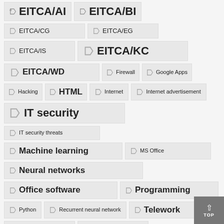EITCA/AI
EITCA/BI
EITCA/CG
EITCA/EG
EITCA/IS
EITCA/KC
EITCA/WD
Firewall
Google Apps
Hacking
HTML
Internet
Internet advertisement
IT security
IT security threats
Machine learning
MS Office
Neural networks
Office software
Programming
Python
Recurrent neural network
Telework
TensorFlow
Vector graphics
Web applications
Web design